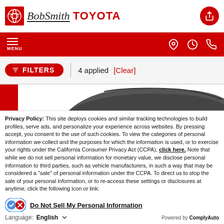[Figure (logo): Bob Smith Toyota dealership logo with Toyota emblem on red square background and script/bold typography]
[Figure (screenshot): Navigation bar with hamburger menu icon labeled MENU on left and location, clock, phone icons on right, red background]
[Figure (screenshot): Filters bar showing red pill-shaped FILTERS button with funnel icon, vertical divider, '4 applied' text and red '[Clear]' link]
[Figure (photo): Partial top view of a dark SUV vehicle]
Privacy Policy: This site deploys cookies and similar tracking technologies to build profiles, serve ads, and personalize your experience across websites. By pressing accept, you consent to the use of such cookies. To view the categories of personal information we collect and the purposes for which the information is used, or to exercise your rights under the California Consumer Privacy Act (CCPA), click here. Note that while we do not sell personal information for monetary value, we disclose personal information to third parties, such as vehicle manufacturers, in such a way that may be considered a "sale" of personal information under the CCPA. To direct us to stop the sale of your personal information, or to re-access these settings or disclosures at anytime, click the following icon or link:
Do Not Sell My Personal Information
Language: English    Powered by ComplyAuto
Accept and Continue →   California Privacy Disclosures